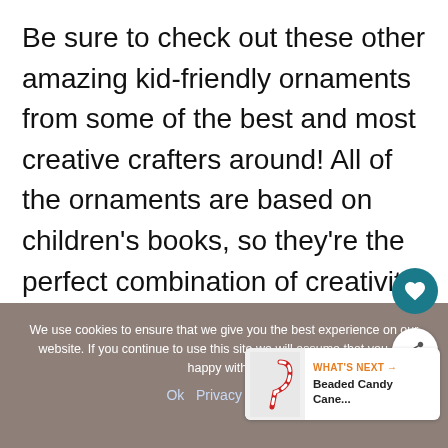Be sure to check out these other amazing kid-friendly ornaments from some of the best and most creative crafters around! All of the ornaments are based on children's books, so they're the perfect combination of creativity and learning. Get a complete list of all of the fun ornaments over at Mama Miss. Melissa is graciously hosting this year's ornament
We use cookies to ensure that we give you the best experience on our website. If you continue to use this site we will assume that you are happy with it.
Ok   Privacy policy
WHAT'S NEXT → Beaded Candy Cane...